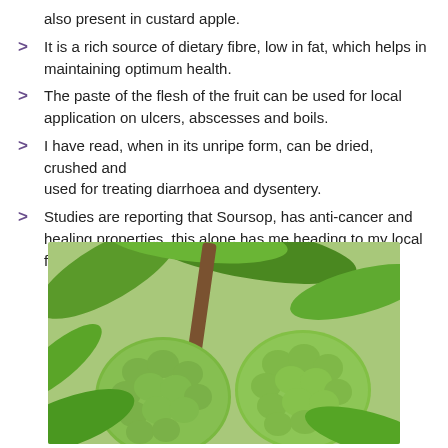also present in custard apple.
It is a rich source of dietary fibre, low in fat, which helps in maintaining optimum health.
The paste of the flesh of the fruit can be used for local application on ulcers, abscesses and boils.
I have read, when in its unripe form, can be dried, crushed and used for treating diarrhoea and dysentery.
Studies are reporting that Soursop, has anti-cancer and healing properties, this alone has me heading to my local farmer market to stock up!!
[Figure (photo): Two green soursop (custard apple) fruits hanging on a tree branch surrounded by large green leaves]